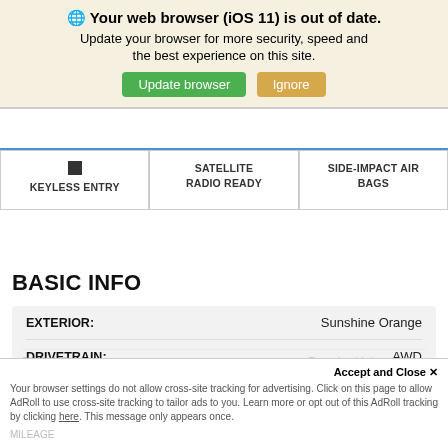🌐 Your web browser (iOS 11) is out of date. Update your browser for more security, speed and the best experience on this site.
Update browser | Ignore
| KEYLESS ENTRY | SATELLITE RADIO READY | SIDE-IMPACT AIR BAGS |
| --- | --- | --- |
|  |
BASIC INFO
| Field | Value |
| --- | --- |
| EXTERIOR: | Sunshine Orange |
| DRIVETRAIN: | AWD |
| INTERIOR: | Black |
| TRANSMISSION: | Automatic |
ENGINE Regular Unleaded ...
Accept and Close ✕
Your browser settings do not allow cross-site tracking for advertising. Click on this page to allow AdRoll to use cross-site tracking to tailor ads to you. Learn more or opt out of this AdRoll tracking by clicking here. This message only appears once.
MILEAGE